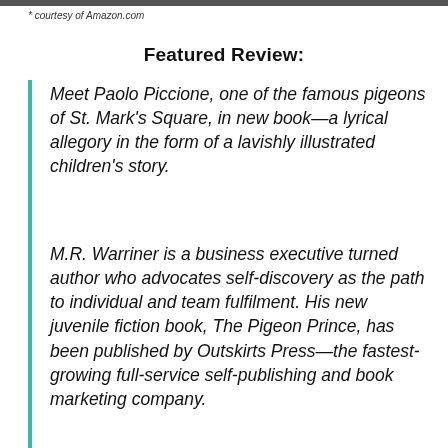* courtesy of Amazon.com
Featured Review:
Meet Paolo Piccione, one of the famous pigeons of St. Mark's Square, in new book—a lyrical allegory in the form of a lavishly illustrated children's story.
M.R. Warriner is a business executive turned author who advocates self-discovery as the path to individual and team fulfilment. His new juvenile fiction book, The Pigeon Prince, has been published by Outskirts Press—the fastest-growing full-service self-publishing and book marketing company.